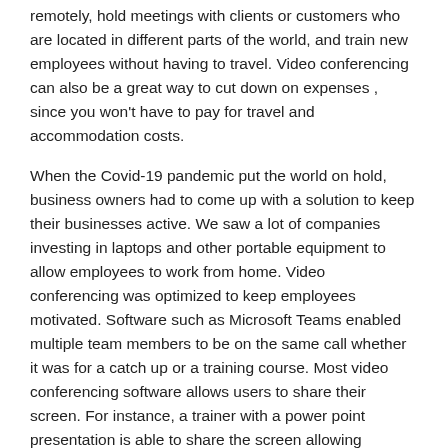remotely, hold meetings with clients or customers who are located in different parts of the world, and train new employees without having to travel. Video conferencing can also be a great way to cut down on expenses , since you won't have to pay for travel and accommodation costs.
When the Covid-19 pandemic put the world on hold, business owners had to come up with a solution to keep their businesses active. We saw a lot of companies investing in laptops and other portable equipment to allow employees to work from home. Video conferencing was optimized to keep employees motivated. Software such as Microsoft Teams enabled multiple team members to be on the same call whether it was for a catch up or a training course. Most video conferencing software allows users to share their screen. For instance, a trainer with a power point presentation is able to share the screen allowing employees to follow the course step by step.
Another benefit of video conferencing is increased attendance. If employees are unwell with Covid for instance, they can still log into the conference meeting. As a result, when they return to work they'll be up to date with any changes or new processes.